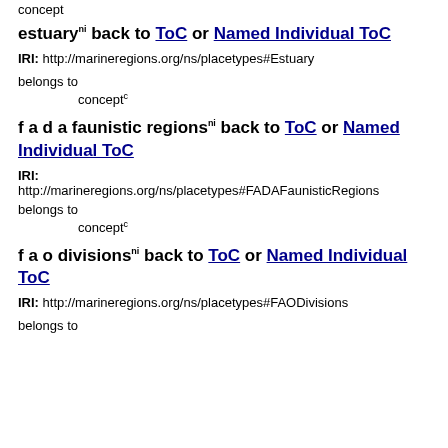concept
estuary^ni back to ToC or Named Individual ToC
IRI: http://marineregions.org/ns/placetypes#Estuary
belongs to
concept^c
f a d a faunistic regions^ni back to ToC or Named Individual ToC
IRI: http://marineregions.org/ns/placetypes#FADAFaunisticRegions
belongs to
concept^c
f a o divisions^ni back to ToC or Named Individual ToC
IRI: http://marineregions.org/ns/placetypes#FAODivisions
belongs to